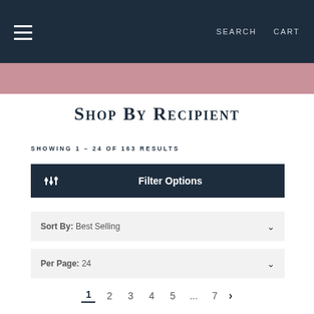Search  Cart
Shop By Recipient
Showing 1 – 24 of 163 Results
Filter Options
Sort By: Best Selling
Per Page: 24
1  2  3  4  5  ...  7  >